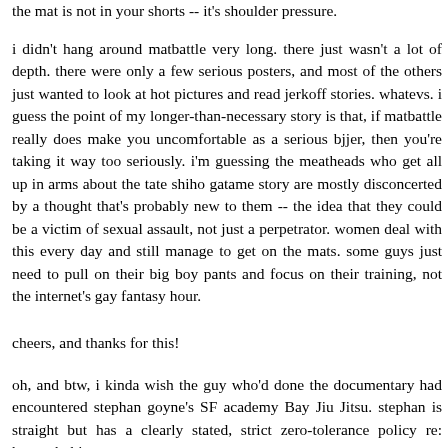the mat is not in your shorts -- it's shoulder pressure.
i didn't hang around matbattle very long. there just wasn't a lot of depth. there were only a few serious posters, and most of the others just wanted to look at hot pictures and read jerkoff stories. whatevs. i guess the point of my longer-than-necessary story is that, if matbattle really does make you uncomfortable as a serious bjjer, then you're taking it way too seriously. i'm guessing the meatheads who get all up in arms about the tate shiho gatame story are mostly disconcerted by a thought that's probably new to them -- the idea that they could be a victim of sexual assault, not just a perpetrator. women deal with this every day and still manage to get on the mats. some guys just need to pull on their big boy pants and focus on their training, not the internet's gay fantasy hour.
cheers, and thanks for this!
oh, and btw, i kinda wish the guy who'd done the documentary had encountered stephan goyne's SF academy Bay Jiu Jitsu. stephan is straight but has a clearly stated, strict zero-tolerance policy re: homophobia, or any